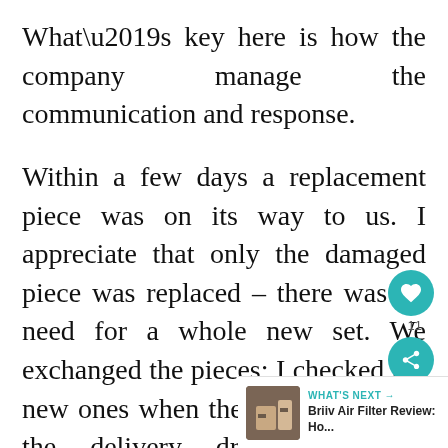What’s key here is how the company manage the communication and response.
Within a few days a replacement piece was on its way to us. I appreciate that only the damaged piece was replaced – there was no need for a whole new set. We exchanged the pieces; I checked the new ones when they arrived before the delivery drive left, and everyone was happy.